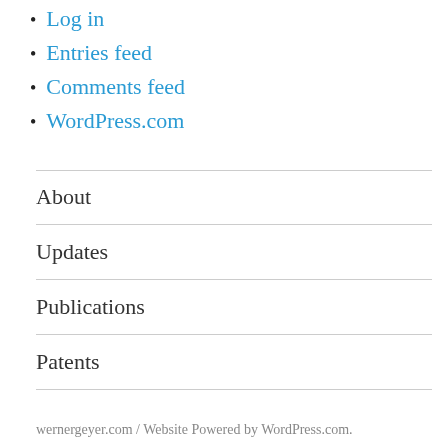Log in
Entries feed
Comments feed
WordPress.com
About
Updates
Publications
Patents
wernergeyer.com / Website Powered by WordPress.com.